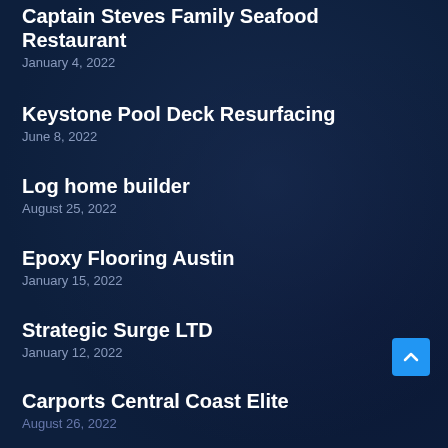Captain Steves Family Seafood Restaurant
January 4, 2022
Keystone Pool Deck Resurfacing
June 8, 2022
Log home builder
August 25, 2022
Epoxy Flooring Austin
January 15, 2022
Strategic Surge LTD
January 12, 2022
Carports Central Coast Elite
August 26, 2022